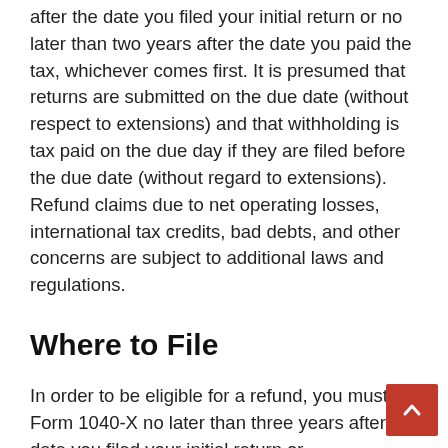after the date you filed your initial return or no later than two years after the date you paid the tax, whichever comes first. It is presumed that returns are submitted on the due date (without respect to extensions) and that withholding is tax paid on the due day if they are filed before the due date (without regard to extensions). Refund claims due to net operating losses, international tax credits, bad debts, and other concerns are subject to additional laws and regulations.
Where to File
In order to be eligible for a refund, you must file Form 1040-X no later than three years after the date you filed your initial return or